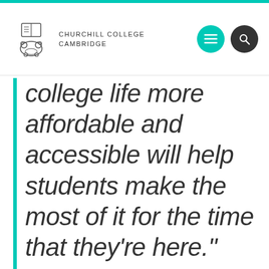CHURCHILL COLLEGE CAMBRIDGE
college life more affordable and accessible will help students make the most of it for the time that they’re here.”